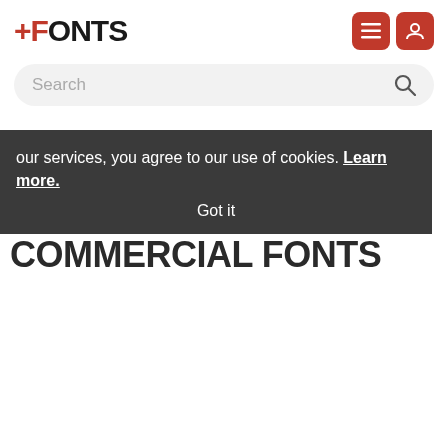FONTS
Search
GIMLET TEXT CONDENSED BLACK COMMERCIAL FONTS
our services, you agree to our use of cookies. Learn more. Got it